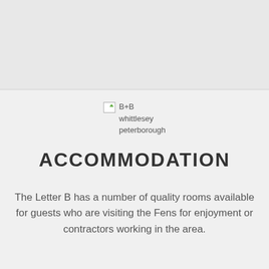[Figure (logo): Broken image icon followed by text 'B+B whittlesey peterborough']
ACCOMMODATION
The Letter B has a number of quality rooms available for guests who are visiting the Fens for enjoyment or contractors working in the area.
Home cooked evening Meals are also an option for our guests.